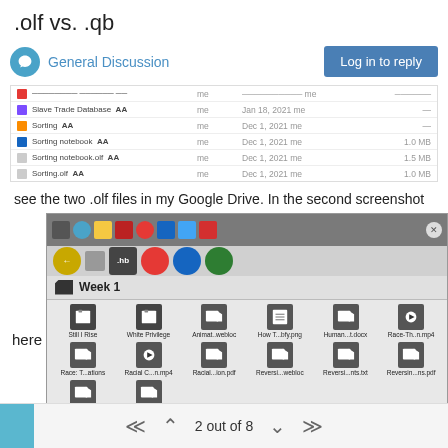.olf vs. .qb
General Discussion
[Figure (screenshot): Google Drive file listing showing rows: Steve Trade Database, Sorting, Sorting notebook, Sorting notebook olf, Sorting olf with dates and file sizes]
see the two .olf files in my Google Drive. In the second screenshot
[Figure (screenshot): File manager window showing Week 1 folder with files: Still I Rise, White Privilege, Animat..webloc, How T...bfy.png, Human...t.docx, Race-Th..n.mp4, Race: T...ations, Racial C...n.mp4, Racial...ion.pdf, Reversi...webloc, Reversi...nts.txt, Reversin...ns.pdf, Reversal...all.pdf, Sorting]
here
2 out of 8